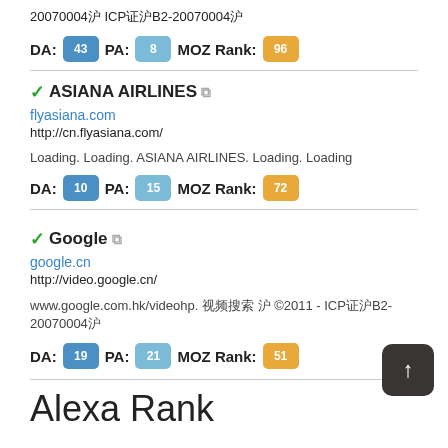20070004沪 ICP证沪B2-20070004沪
DA: 43  PA: 8  MOZ Rank: 96
✓ASIANA AIRLINES 🔗
flyasiana.com
http://cn.flyasiana.com/
Loading. Loading. ASIANA AIRLINES. Loading. Loading
DA: 10  PA: 15  MOZ Rank: 72
✓Google 🔗
google.cn
http://video.google.cn/
www.google.com.hk/videohp. 视频搜索 沪 ©2011 - ICP证沪B2-20070004沪
DA: 19  PA: 21  MOZ Rank: 51
Alexa Rank